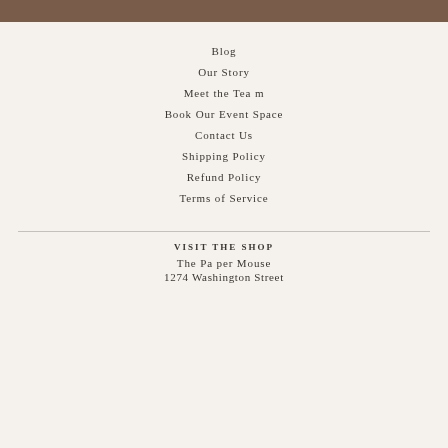Blog
Our Story
Meet the Team
Book Our Event Space
Contact Us
Shipping Policy
Refund Policy
Terms of Service
VISIT THE SHOP
The Paper Mouse
1274 Washington Street